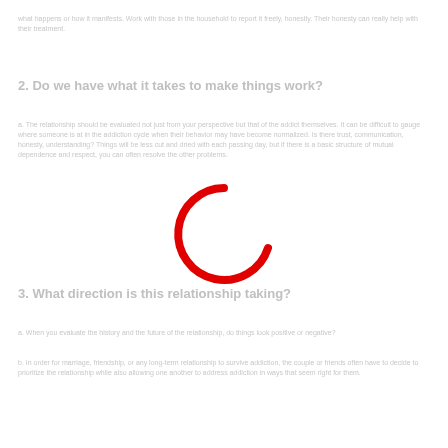what happens or how it manifests. Work with those in the household to report it freely, honestly. Their honesty can really help with their treatment.
2. Do we have what it takes to make things work?
a. The relationship should be evaluated not just from your perspective but that of the addict themselves. It can be difficult to gauge where someone is at in the addiction cycle when their behavior may have become normalized. Is there trust, communication, honesty, understanding? Things will be less cut and dried with each passing day, but if there is a basic structure of mutual dependence and respect, you can often resolve the other problems.
3. What direction is this relationship taking?
a. When you evaluate the history and the future of the relationship, do things look positive or negative?
b. In order for marriage, friendship, or any long-term relationship to survive addiction, the couple or friends often have to decide to prioritize the relationship while also allowing one another to address addiction in ways that seem right for them.
[Figure (other): Red circular loading spinner icon overlaid on the document page]